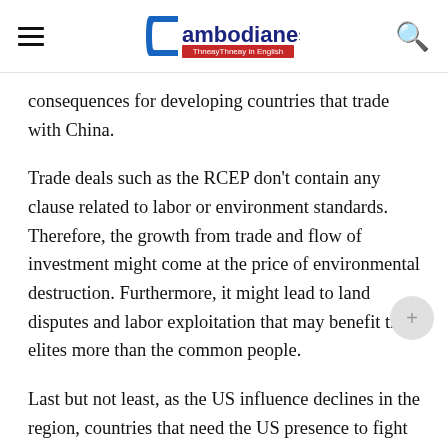Cambodianess — ThneayThneay in English
consequences for developing countries that trade with China.
Trade deals such as the RCEP don't contain any clause related to labor or environment standards. Therefore, the growth from trade and flow of investment might come at the price of environmental destruction. Furthermore, it might lead to land disputes and labor exploitation that may benefit the elites more than the common people.
Last but not least, as the US influence declines in the region, countries that need the US presence to fight for human rights will experience a decline